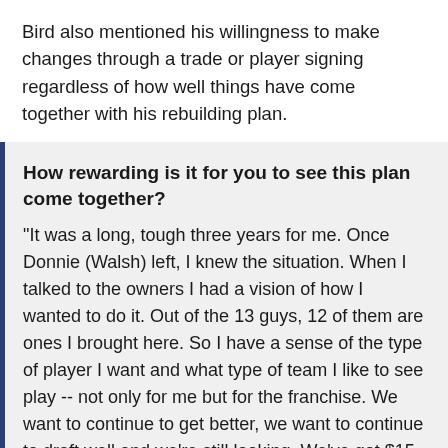Bird also mentioned his willingness to make changes through a trade or player signing regardless of how well things have come together with his rebuilding plan.
How rewarding is it for you to see this plan come together?
"It was a long, tough three years for me. Once Donnie (Walsh) left, I knew the situation. When I talked to the owners I had a vision of how I wanted to do it. Out of the 13 guys, 12 of them are ones I brought here. So I have a sense of the type of player I want and what type of team I like to see play -- not only for me but for the franchise. We want to continue to get better, we want to continue to draft well and we're still looking. We've got $15 million under the cap and I'm not afraid to make another move now to strengthen our bench or maybe even